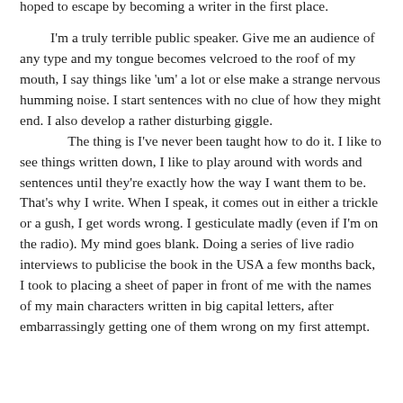hoped to escape by becoming a writer in the first place.
I'm a truly terrible public speaker. Give me an audience of any type and my tongue becomes velcroed to the roof of my mouth, I say things like 'um' a lot or else make a strange nervous humming noise. I start sentences with no clue of how they might end. I also develop a rather disturbing giggle.
The thing is I've never been taught how to do it. I like to see things written down, I like to play around with words and sentences until they're exactly how the way I want them to be. That's why I write. When I speak, it comes out in either a trickle or a gush, I get words wrong. I gesticulate madly (even if I'm on the radio). My mind goes blank. Doing a series of live radio interviews to publicise the book in the USA a few months back, I took to placing a sheet of paper in front of me with the names of my main characters written in big capital letters, after embarrassingly getting one of them wrong on my first attempt.